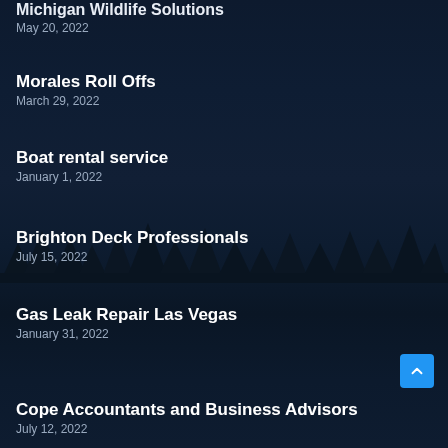Michigan Wildlife Solutions
May 20, 2022
Morales Roll Offs
March 29, 2022
Boat rental service
January 1, 2022
Brighton Deck Professionals
July 15, 2022
Gas Leak Repair Las Vegas
January 31, 2022
Cope Accountants and Business Advisors
July 12, 2022